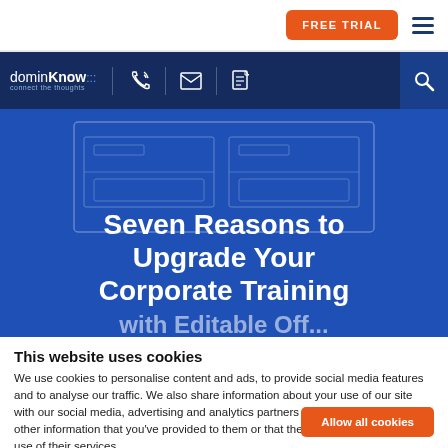[Figure (screenshot): Navigation bar with FREE TRIAL button and hamburger menu]
[Figure (logo): dominKnow logo with tagline 'connect the thoughts', phone, email, and document icons, and search button]
Seven Reasons to Upgrade Your Corporate Training
This website uses cookies
We use cookies to personalise content and ads, to provide social media features and to analyse our traffic. We also share information about your use of our site with our social media, advertising and analytics partners who may combine it with other information that you've provided to them or that they've collected from your use of their services.
Allow all cookies